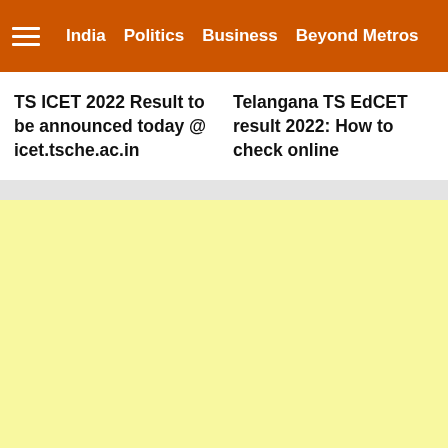India  Politics  Business  Beyond Metros
TS ICET 2022 Result to be announced today @ icet.tsche.ac.in
Telangana TS EdCET result 2022: How to check online